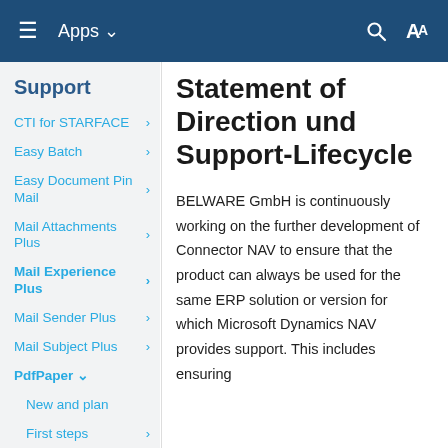Apps
Support
CTI for STARFACE
Easy Batch
Easy Document Pin Mail
Mail Attachments Plus
Mail Experience Plus
Mail Sender Plus
Mail Subject Plus
PdfPaper
New and plan
First steps
Statement of Direction und Support-Lifecycle
BELWARE GmbH is continuously working on the further development of Connector NAV to ensure that the product can always be used for the same ERP solution or version for which Microsoft Dynamics NAV provides support. This includes ensuring